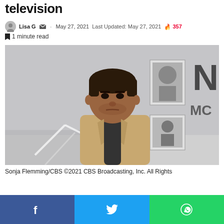television
Lisa G · May 27, 2021  Last Updated: May 27, 2021  🔥 357
🔖 1 minute read
[Figure (photo): Man in a tan jacket standing in an office/command center environment with portraits on the wall behind him and a large 'N' letter visible. From NCIS TV show. Credit: Sonja Flemming/CBS ©2021 CBS Broadcasting, Inc. All Rights]
Sonja Flemming/CBS ©2021 CBS Broadcasting, Inc. All Rights
Share on Facebook | Share on Twitter | Share on WhatsApp